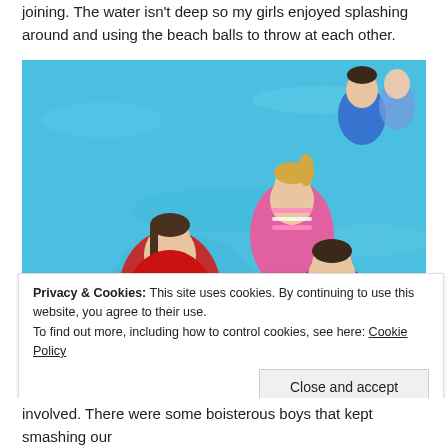joining. The water isn't deep so my girls enjoyed splashing around and using the beach balls to throw at each other.
[Figure (photo): Aerial view of children playing in a shallow blue swimming pool. Three girls are visible in the foreground — one in a red outfit, one in a pink striped top, and one in a blue patterned swimsuit. Two more children are visible in the background.]
Privacy & Cookies: This site uses cookies. By continuing to use this website, you agree to their use.
To find out more, including how to control cookies, see here: Cookie Policy
involved. There were some boisterous boys that kept smashing our